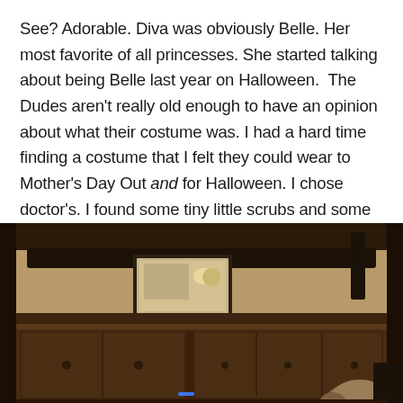See? Adorable. Diva was obviously Belle. Her most favorite of all princesses. She started talking about being Belle last year on Halloween. The Dudes aren't really old enough to have an opinion about what their costume was. I had a hard time finding a costume that I felt they could wear to Mother's Day Out and for Halloween. I chose doctor's. I found some tiny little scrubs and some tiny little lab coats. I then took the tiny little scrubs and tiny little lab coats and had McDreamy and McSteamy embroidered on them. Cheese ball I know. But, I did it. And it was cute.
[Figure (photo): A dark wood dresser or entertainment console with a small screen/monitor on top showing an image, a soundbar behind it, and what appears to be a dog's head at the bottom right corner. Room background is tan/beige walls.]